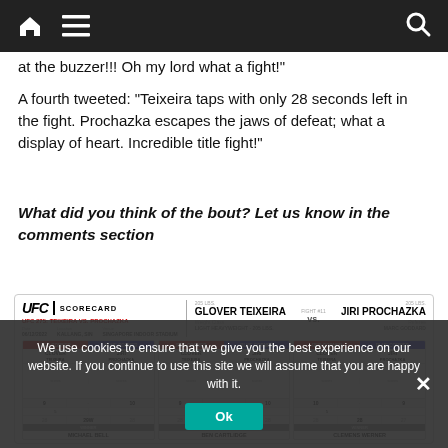Navigation bar with home, menu, and search icons
at the buzzer!!! Oh my lord what a fight!"
A fourth tweeted: "Teixeira taps with only 28 seconds left in the fight. Prochazka escapes the jaws of defeat; what a display of heart. Incredible title fight!"
What did you think of the bout? Let us know in the comments section
[Figure (other): UFC Scorecard for UFC 275: Teixeira vs. Prochazka, Fight #11, Glover Teixeira vs. Jiri Prochazka, Light Heavyweight 205 lbs, Referee Marc Goddard, judges Michael Bell, Ben Cartlidge, Clemens Werner]
We use cookies to ensure that we give you the best experience on our website. If you continue to use this site we will assume that you are happy with it.